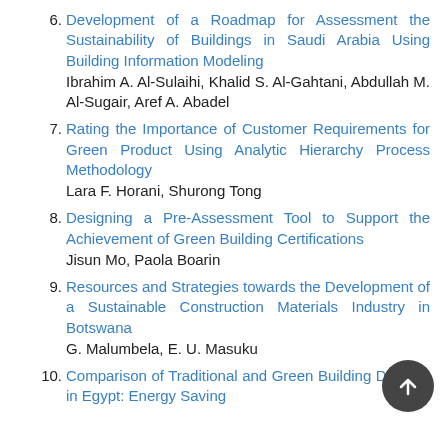6. Development of a Roadmap for Assessment the Sustainability of Buildings in Saudi Arabia Using Building Information Modeling
Ibrahim A. Al-Sulaihi, Khalid S. Al-Gahtani, Abdullah M. Al-Sugair, Aref A. Abadel
7. Rating the Importance of Customer Requirements for Green Product Using Analytic Hierarchy Process Methodology
Lara F. Horani, Shurong Tong
8. Designing a Pre-Assessment Tool to Support the Achievement of Green Building Certifications
Jisun Mo, Paola Boarin
9. Resources and Strategies towards the Development of a Sustainable Construction Materials Industry in Botswana
G. Malumbela, E. U. Masuku
10. Comparison of Traditional and Green Building Designs in Egypt: Energy Saving